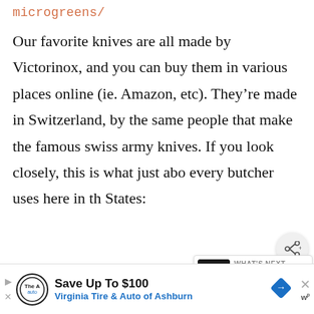microgreens/
Our favorite knives are all made by Victorinox, and you can buy them in various places online (ie. Amazon, etc). They’re made in Switzerland, by the same people that make the famous swiss army knives. If you look closely, this is what just abo every butcher uses here in th States:
[Figure (other): Share button icon (circle with share symbol)]
[Figure (other): What's Next overlay with Blackberry Jam Recipe thumbnail and label]
[Figure (other): Advertisement banner: Save Up To $100 Virginia Tire & Auto of Ashburn]